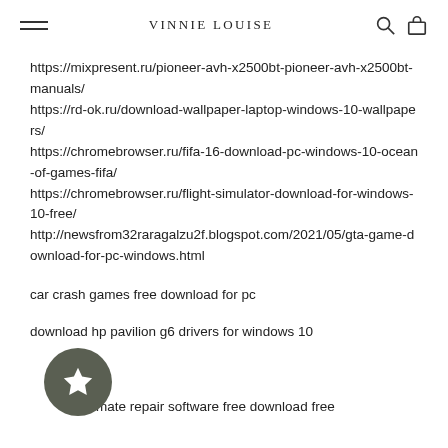VINNIE LOUISE
https://mixpresent.ru/pioneer-avh-x2500bt-pioneer-avh-x2500bt-manuals/
https://rd-ok.ru/download-wallpaper-laptop-windows-10-wallpapers/
https://chromebrowser.ru/fifa-16-download-pc-windows-10-ocean-of-games-fifa/
https://chromebrowser.ru/flight-simulator-download-for-windows-10-free/
http://newsfrom32raragalzu2f.blogspot.com/2021/05/gta-game-download-for-pc-windows.html
car crash games free download for pc
download hp pavilion g6 drivers for windows 10
win 7 ultimate repair software free download free